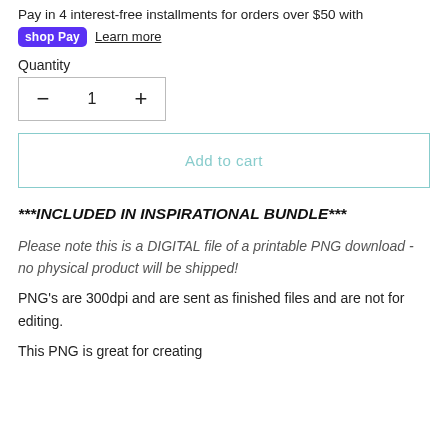Pay in 4 interest-free installments for orders over $50 with
shop Pay  Learn more
Quantity
- 1 +
Add to cart
***INCLUDED IN INSPIRATIONAL BUNDLE***
Please note this is a DIGITAL file of a printable PNG download - no physical product will be shipped!
PNG's are 300dpi and are sent as finished files and are not for editing.
This PNG is great for creating